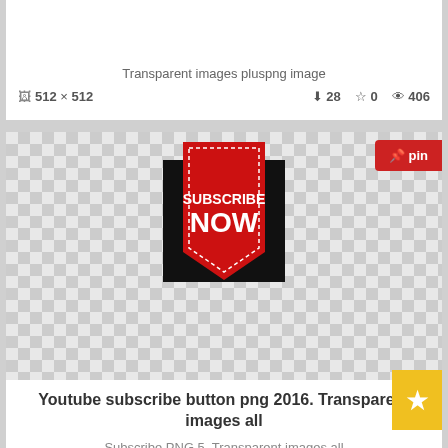Transparent images pluspng image
512 x 512   ⬇28  ☆0  👁406
[Figure (screenshot): Subscribe Now red ribbon banner PNG image with transparent/checkerboard background. Red pin button in top right corner. Yellow star tab on right side.]
Youtube subscribe button png 2016. Transparent images all
Subscribe PNG 5. Transparent images all
1531 x 1559   ⬇183  ☆0  👁1496
[Figure (screenshot): Subscribe button with YouTube play icon on black background, partial view at bottom of page. Red pin button in top right corner.]